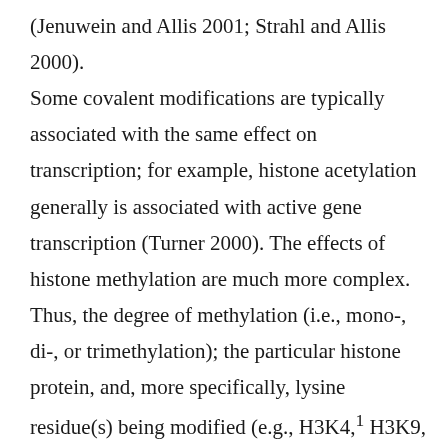(Jenuwein and Allis 2001; Strahl and Allis 2000). Some covalent modifications are typically associated with the same effect on transcription; for example, histone acetylation generally is associated with active gene transcription (Turner 2000). The effects of histone methylation are much more complex. Thus, the degree of methylation (i.e., mono-, di-, or trimethylation); the particular histone protein, and, more specifically, lysine residue(s) being modified (e.g., H3K4,¹ H3K9, H3K27, H3K36, H3K79, or H4K20); and the degree of chromatin condensation (i.e., condensed heterochromatin versu [Back to Top ↑] euchromatin) all play a role. Likewise, the part of the